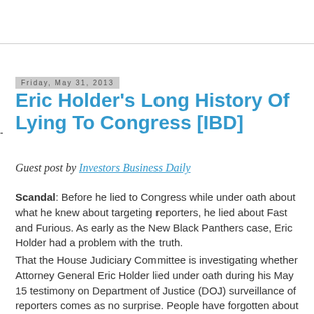Friday, May 31, 2013
Eric Holder's Long History Of Lying To Congress [IBD]
Guest post by Investors Business Daily
Scandal: Before he lied to Congress while under oath about what he knew about targeting reporters, he lied about Fast and Furious. As early as the New Black Panthers case, Eric Holder had a problem with the truth.
That the House Judiciary Committee is investigating whether Attorney General Eric Holder lied under oath during his May 15 testimony on Department of Justice (DOJ) surveillance of reporters comes as no surprise. People have forgotten about the New Black Panther case, perhaps the most clear-cut